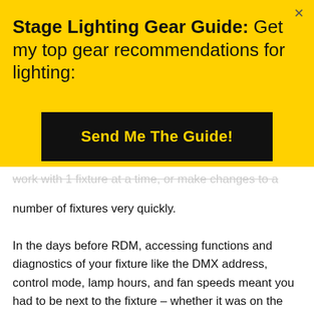Stage Lighting Gear Guide: Get my top gear recommendations for lighting:
Send Me The Guide!
work with 1 fixture at a time, or make changes to a number of fixtures very quickly.
In the days before RDM, accessing functions and diagnostics of your fixture like the DMX address, control mode, lamp hours, and fan speeds meant you had to be next to the fixture – whether it was on the ground or 200’ up in the air!